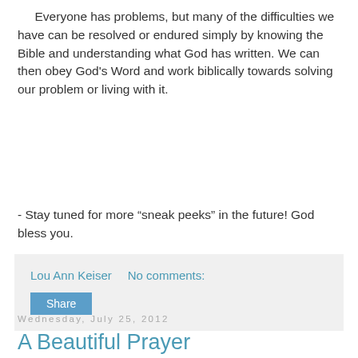Everyone has problems, but many of the difficulties we have can be resolved or endured simply by knowing the Bible and understanding what God has written. We can then obey God's Word and work biblically towards solving our problem or living with it.
- Stay tuned for more “sneak peeks” in the future! God bless you.
Lou Ann Keiser   No comments:
Share
Wednesday, July 25, 2012
A Beautiful Prayer
I first heard this prayer used as a benediction. I read it again today.